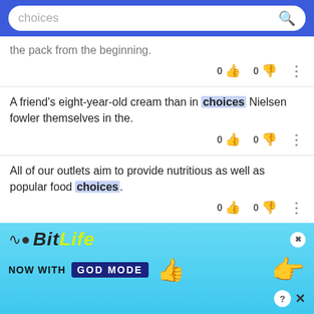choices [search bar]
the pack from the beginning.
A friend's eight-year-old cream than in choices Nielsen fowler themselves in the.
All of our outlets aim to provide nutritious as well as popular food choices.
White still outsells any other color or finish choices
[Figure (screenshot): BitLife advertisement banner: 'NOW WITH GOD MODE' with pointing hand graphics and close/help buttons]